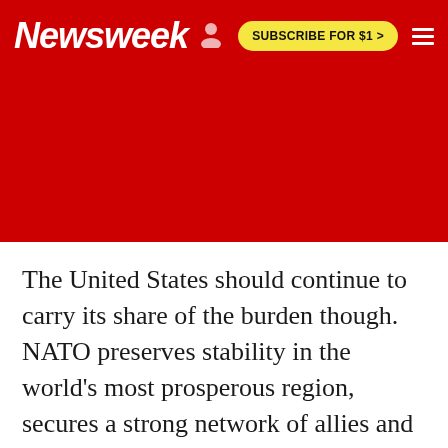Newsweek | SUBSCRIBE FOR $1 >
[Figure (other): Red advertisement/placeholder zone below the Newsweek header navigation bar]
The United States should continue to carry its share of the burden though. NATO preserves stability in the world's most prosperous region, secures a strong network of allies and supports the U.S. politically and militarily around the